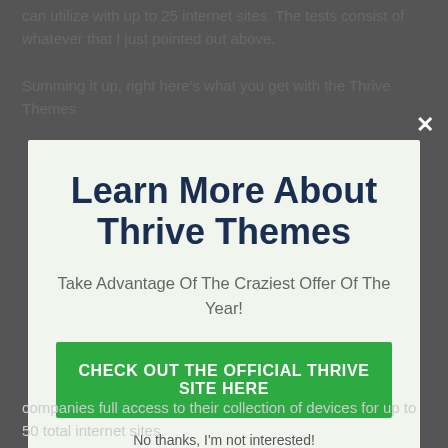can utilize with up to 25 internet sites. The tests consist of whatever that I just pointed out above.
Summing it up, right here's what you get with the Thrive Themes
Learn More About Thrive Themes
Take Advantage Of The Craziest Offer Of The Year!
CHECK OUT THE OFFICIAL THRIVE SITE HERE
No thanks, I'm not interested!
companies full access to their collection of devices for up to 50 total internet sites.